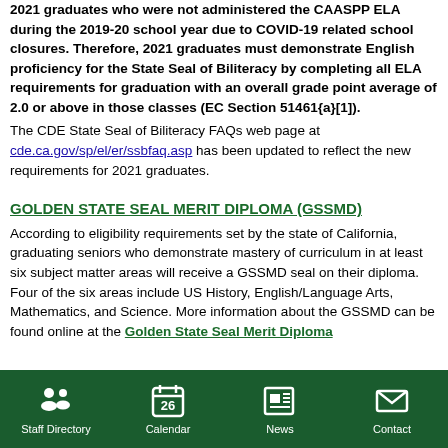2021 graduates who were not administered the CAASPP ELA during the 2019-20 school year due to COVID-19 related school closures. Therefore, 2021 graduates must demonstrate English proficiency for the State Seal of Biliteracy by completing all ELA requirements for graduation with an overall grade point average of 2.0 or above in those classes (EC Section 51461{a}[1]).
The CDE State Seal of Biliteracy FAQs web page at cde.ca.gov/sp/el/er/ssbfaq.asp has been updated to reflect the new requirements for 2021 graduates.
GOLDEN STATE SEAL MERIT DIPLOMA (GSSMD)
According to eligibility requirements set by the state of California, graduating seniors who demonstrate mastery of curriculum in at least six subject matter areas will receive a GSSMD seal on their diploma. Four of the six areas include US History, English/Language Arts, Mathematics, and Science. More information about the GSSMD can be found online at the Golden State Seal Merit Diploma
Staff Directory | Calendar | News | Contact